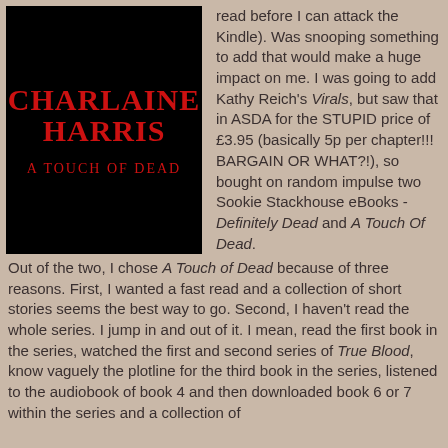[Figure (illustration): Book cover for 'A Touch of Dead' by Charlaine Harris. Black background with author name CHARLAINE HARRIS in large red serif text and subtitle A TOUCH OF DEAD in smaller red serif text.]
read before I can attack the Kindle). Was snooping something to add that would make a huge impact on me. I was going to add Kathy Reich's Virals, but saw that in ASDA for the STUPID price of £3.95 (basically 5p per chapter!!! BARGAIN OR WHAT?!), so bought on random impulse two Sookie Stackhouse eBooks - Definitely Dead and A Touch Of Dead.
Out of the two, I chose A Touch of Dead because of three reasons. First, I wanted a fast read and a collection of short stories seems the best way to go. Second, I haven't read the whole series. I jump in and out of it. I mean, read the first book in the series, watched the first and second series of True Blood, know vaguely the plotline for the third book in the series, listened to the audiobook of book 4 and then downloaded book 6 or 7 within the series and a collection of